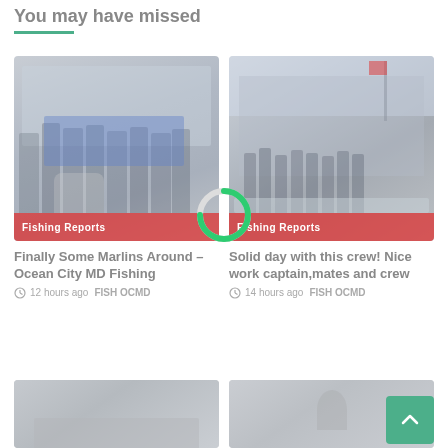You may have missed
[Figure (photo): Group photo of people in front of a building, with a blue banner. Badge labeled 'Fishing Reports'.]
[Figure (photo): Outdoor scene with people near a dock. Badge labeled 'Fishing Reports'.]
Finally Some Marlins Around – Ocean City MD Fishing
12 hours ago  FISH OCMD
Solid day with this crew! Nice work captain,mates and crew
14 hours ago  FISH OCMD
[Figure (photo): Partial view of a boat on water.]
[Figure (photo): Partial view of a person on a boat or dock.]